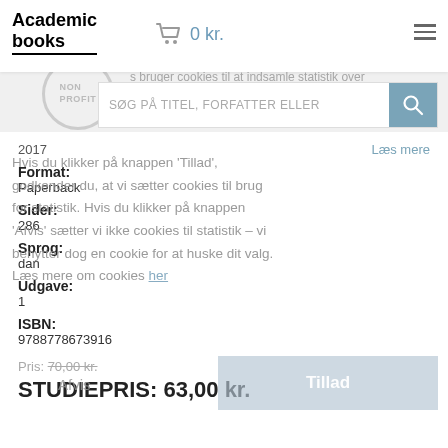Academic books — 0 kr.
SØG PÅ TITEL, FORFATTER ELLER
2017
Læs mere
Format:
Paperback
Sider:
286
Sprog:
dan
Udgave:
1
ISBN:
9788778673916
Pris: 70,00 kr.
STUDIEPRIS: 63,00 kr.
Hvis du klikker på knappen 'Tillad', godkender du, at vi sætter cookies til brug for statistik. Hvis du klikker på knappen 'Afvis' sætter vi ikke cookies til statistik – vi benytter dog en cookie for at huske dit valg. Læs mere om cookies her
Afvis
Tillad